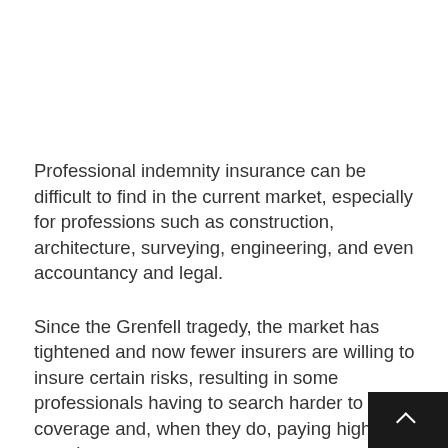Professional indemnity insurance can be difficult to find in the current market, especially for professions such as construction, architecture, surveying, engineering, and even accountancy and legal.
Since the Grenfell tragedy, the market has tightened and now fewer insurers are willing to insure certain risks, resulting in some professionals having to search harder to find coverage and, when they do, paying higher premiums.